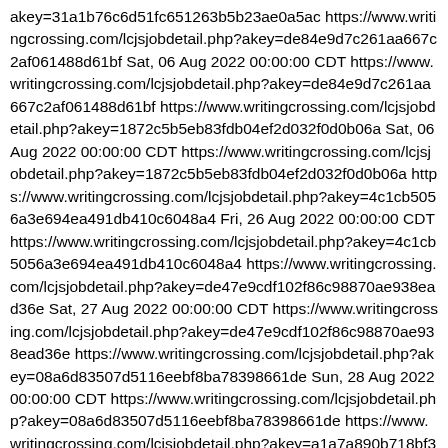akey=31a1b76c6d51fc651263b5b23ae0a5ac https://www.writingcrossing.com/lcjsjobdetail.php?akey=de84e9d7c261aa667c2af061488d61bf Sat, 06 Aug 2022 00:00:00 CDT https://www.writingcrossing.com/lcjsjobdetail.php?akey=de84e9d7c261aa667c2af061488d61bf https://www.writingcrossing.com/lcjsjobdetail.php?akey=1872c5b5eb83fdb04ef2d032f0d0b06a Sat, 06 Aug 2022 00:00:00 CDT https://www.writingcrossing.com/lcjsjobdetail.php?akey=1872c5b5eb83fdb04ef2d032f0d0b06a https://www.writingcrossing.com/lcjsjobdetail.php?akey=4c1cb5056a3e694ea491db410c6048a4 Fri, 26 Aug 2022 00:00:00 CDT https://www.writingcrossing.com/lcjsjobdetail.php?akey=4c1cb5056a3e694ea491db410c6048a4 https://www.writingcrossing.com/lcjsjobdetail.php?akey=de47e9cdf102f86c98870ae938ead36e Sat, 27 Aug 2022 00:00:00 CDT https://www.writingcrossing.com/lcjsjobdetail.php?akey=de47e9cdf102f86c98870ae938ead36e https://www.writingcrossing.com/lcjsjobdetail.php?akey=08a6d83507d5116eebf8ba78398661de Sun, 28 Aug 2022 00:00:00 CDT https://www.writingcrossing.com/lcjsjobdetail.php?akey=08a6d83507d5116eebf8ba78398661de https://www.writingcrossing.com/lcjsjobdetail.php?akey=a1a7a890b718bf3ecd400d5b10889e05 Sun, 28 Aug 2022 00:00:00 CDT https://www.writingcrossing.com/lcjsjobdetail.php?akey=a1a7a890b718bf3ecd400d5b10889e05